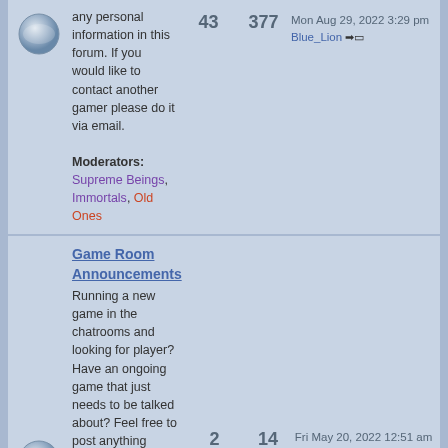any personal information in this forum. If you would like to contact another gamer please do it via email. Moderators: Supreme Beings, Immortals, Old Ones
43
377
Mon Aug 29, 2022 3:29 pm Blue_Lion
Game Room Announcements
Running a new game in the chatrooms and looking for player? Have an ongoing game that just needs to be talked about? Feel free to post anything related to your ongoing or upcoming chat room games. Moderators: Supreme Beings, Immortals, Old Ones
2
14
Fri May 20, 2022 12:51 am drewkitty ~.~
Classifieds
Old RPGs? Sell 'em!! Extra Dice? Sell 'em!! If it pertains to...